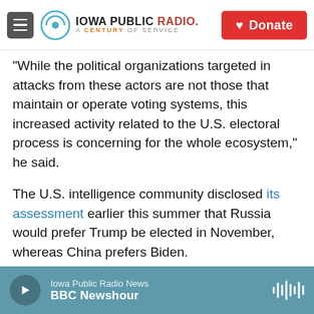[Figure (logo): Iowa Public Radio logo with hamburger menu and Donate button]
"While the political organizations targeted in attacks from these actors are not those that maintain or operate voting systems, this increased activity related to the U.S. electoral process is concerning for the whole ecosystem," he said.
The U.S. intelligence community disclosed its assessment earlier this summer that Russia would prefer Trump be elected in November, whereas China prefers Biden.
The Aspen Tech Policy Hub's Cooper said because of that assessment she fully expects news of more cyberattacks to come to light before Election Day
[Figure (screenshot): Iowa Public Radio audio player bar showing BBC Newshour]